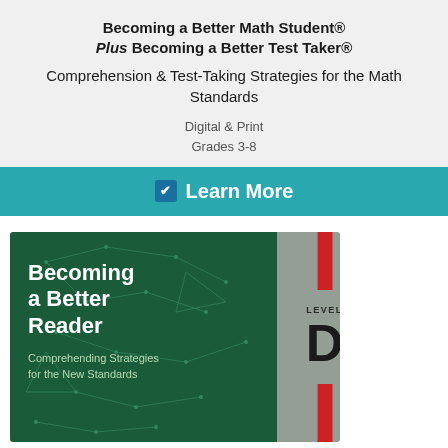Becoming a Better Math Student® Plus Becoming a Better Test Taker® Comprehension & Test-Taking Strategies for the Math Standards
Digital & Print
Grades 3-8
✔ Learn More
[Figure (illustration): Book cover for 'Becoming a Better Reader: Comprehending Strategies for the New Standards', Level D. Dark green background with constellation/network pattern, red vertical stripe on spine, grey level indicator panel showing LEVEL D.]